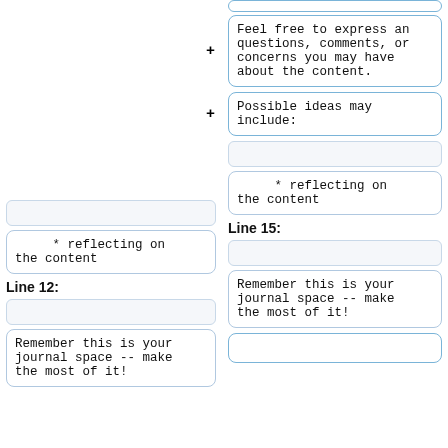Feel free to express any questions, comments, or concerns you may have about the content.
Possible ideas may include:
* reflecting on the content
* reflecting on the content
Line 12:
Line 15:
Remember this is your journal space -- make the most of it!
Remember this is your journal space -- make the most of it!